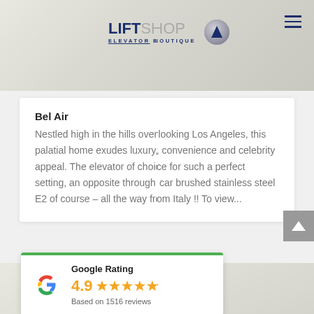[Figure (screenshot): LiftShop Elevator Boutique website header with logo and hamburger menu over a light interior background]
Bel Air
Nestled high in the hills overlooking Los Angeles, this palatial home exudes luxury, convenience and celebrity appeal. The elevator of choice for such a perfect setting, an opposite through car brushed stainless steel E2 of course – all the way from Italy !! To view...
[Figure (infographic): Google Rating widget showing 4.9 stars based on 1516 reviews with Google G logo]